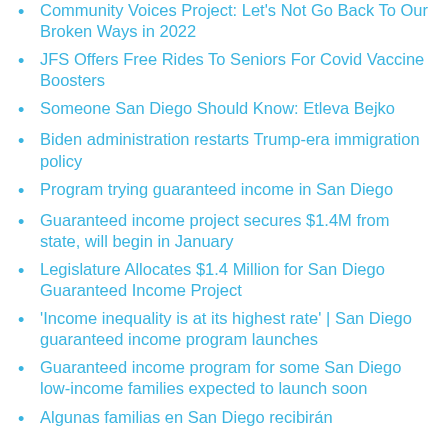Community Voices Project: Let's Not Go Back To Our Broken Ways in 2022
JFS Offers Free Rides To Seniors For Covid Vaccine Boosters
Someone San Diego Should Know: Etleva Bejko
Biden administration restarts Trump-era immigration policy
Program trying guaranteed income in San Diego
Guaranteed income project secures $1.4M from state, will begin in January
Legislature Allocates $1.4 Million for San Diego Guaranteed Income Project
‘Income inequality is at its highest rate’ | San Diego guaranteed income program launches
Guaranteed income program for some San Diego low-income families expected to launch soon
Algunas familias en San Diego recibirán